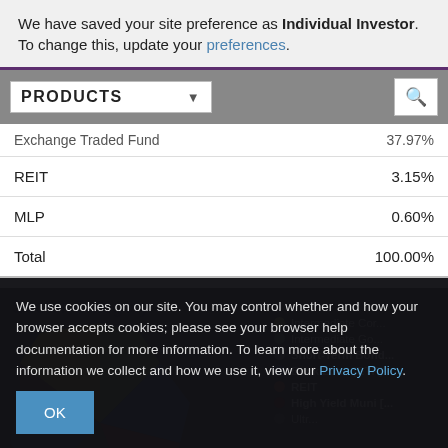We have saved your site preference as Individual Investor. To change this, update your preferences.
PRODUCTS
|  |  |
| --- | --- |
| Exchange Traded Fund | 37.97% |
| REIT | 3.15% |
| MLP | 0.60% |
| Total | 100.00% |
Sector Category
We use cookies on our site. You may control whether and how your browser accepts cookies; please see your browser help documentation for more information. To learn more about the information we collect and how we use it, view our Privacy Policy.
[Figure (pie-chart): Sector Category pie chart showing multiple bond/fund categories including Intermediate Cor..., Intermediate Go..., Short-Term Bond..., Bank Loan [ETF], REIT, High Yield Muni [...], and others.]